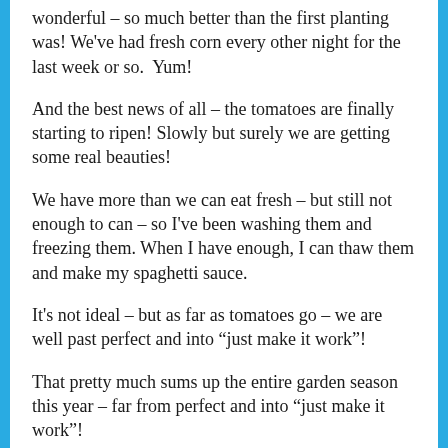wonderful – so much better than the first planting was! We've had fresh corn every other night for the last week or so.  Yum!
And the best news of all – the tomatoes are finally starting to ripen! Slowly but surely we are getting some real beauties!
We have more than we can eat fresh – but still not enough to can – so I've been washing them and freezing them. When I have enough, I can thaw them and make my spaghetti sauce.
It's not ideal – but as far as tomatoes go – we are well past perfect and into “just make it work”!
That pretty much sums up the entire garden season this year – far from perfect and into “just make it work”!